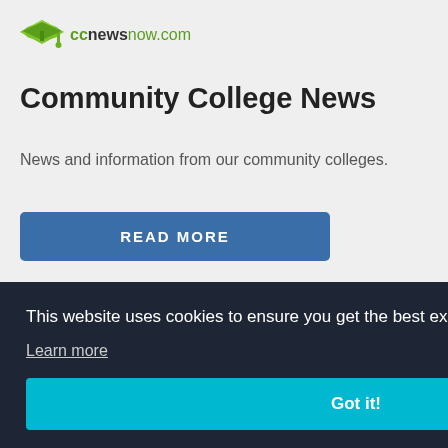[Figure (logo): ccnewsnow.com logo with graduation cap icon in green]
Community College News
News and information from our community colleges.
READ MORE
This website uses cookies to ensure you get the best experience on our website.
Learn more
Got it!
ty of emy
2 Admitting First-Generation and Low